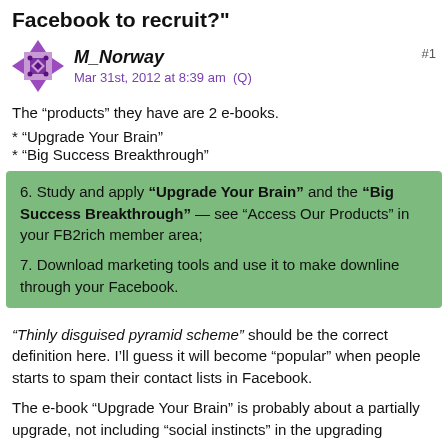Facebook to recruit?"
[Figure (illustration): Forum user avatar: decorative diamond/cross pattern in purple and black]
M_Norway
Mar 31st, 2012 at 8:39 am  (Q)
#1
The “products” they have are 2 e-books.
* “Upgrade Your Brain”
* “Big Success Breakthrough”
6. Study and apply “Upgrade Your Brain” and the “Big Success Breakthrough” — see “Access Our Products” in your FB2rich member area;
7. Download marketing tools and use it to make downline through your Facebook.
“Thinly disguised pyramid scheme” should be the correct definition here. I’ll guess it will become “popular” when people starts to spam their contact lists in Facebook.
The e-book “Upgrade Your Brain” is probably about a partially upgrade, not including “social instincts” in the upgrading process.